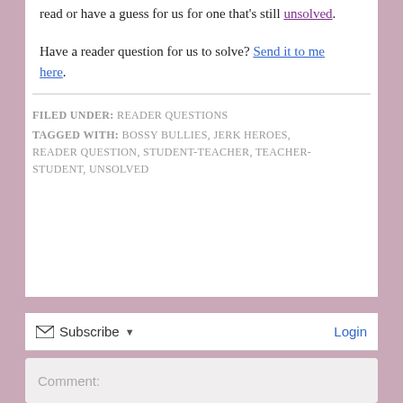read or have a guess for us for one that's still unsolved.
Have a reader question for us to solve? Send it to me here.
FILED UNDER: READER QUESTIONS
TAGGED WITH: BOSSY BULLIES, JERK HEROES, READER QUESTION, STUDENT-TEACHER, TEACHER-STUDENT, UNSOLVED
Subscribe
Login
Comment: